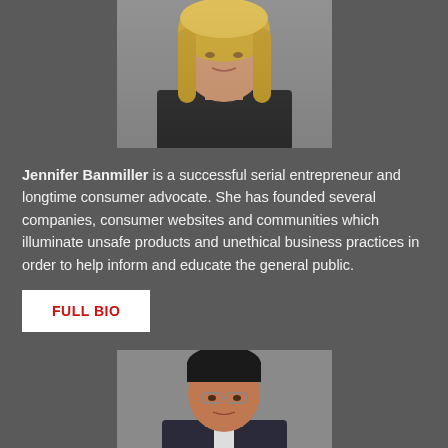[Figure (photo): Headshot of Jennifer Banmiller, a woman with long blonde hair wearing a black top]
Jennifer Banmiller is a successful serial entrepreneur and longtime consumer advocate. She has founded several companies, consumer websites and communities which illuminate unsafe products and unethical business practices in order to help inform and educate the general public.
FULL BIO
[Figure (photo): Headshot of a man with dark hair and glasses, wearing a suit]